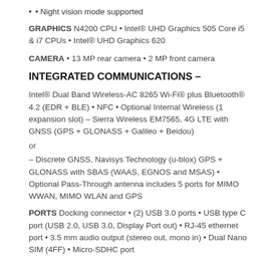• Night vision mode supported
GRAPHICS N4200 CPU • Intel® UHD Graphics 505 Core i5 & i7 CPUs • Intel® UHD Graphics 620
CAMERA • 13 MP rear camera • 2 MP front camera
INTEGRATED COMMUNICATIONS –
Intel® Dual Band Wireless-AC 8265 Wi-Fi® plus Bluetooth® 4.2 (EDR + BLE) • NFC • Optional Internal Wireless (1 expansion slot) – Sierra Wireless EM7565, 4G LTE with GNSS (GPS + GLONASS + Galileo + Beidou)
or
– Discrete GNSS, Navisys Technology (u-blox) GPS + GLONASS with SBAS (WAAS, EGNOS and MSAS) • Optional Pass-Through antenna includes 5 ports for MIMO WWAN, MIMO WLAN and GPS
PORTS Docking connector • (2) USB 3.0 ports • USB type C port (USB 2.0, USB 3.0, Display Port out) • RJ-45 ethernet port • 3.5 mm audio output (stereo out, mono in) • Dual Nano SIM (4FF) • Micro-SDHC port